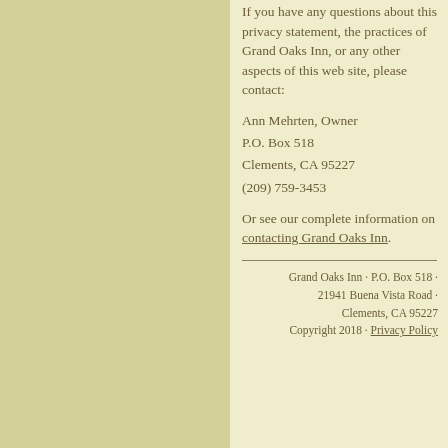If you have any questions about this privacy statement, the practices of Grand Oaks Inn, or any other aspects of this web site, please contact:
Ann Mehrten, Owner
P.O. Box 518
Clements, CA 95227
(209) 759-3453
Or see our complete information on contacting Grand Oaks Inn.
Grand Oaks Inn · P.O. Box 518 · 21941 Buena Vista Road · Clements, CA 95227
Copyright 2018 · Privacy Policy